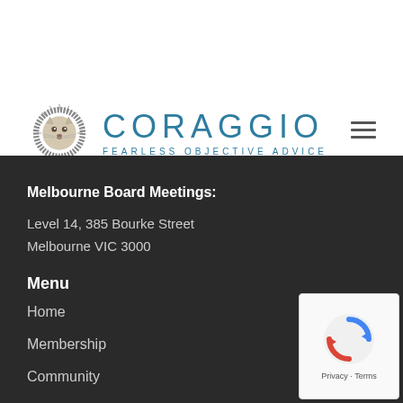[Figure (logo): Coraggio lion logo with brand name CORAGGIO and tagline FEARLESS OBJECTIVE ADVICE]
Melbourne Board Meetings:
Level 14, 385 Bourke Street
Melbourne VIC 3000
Menu
Home
Membership
Community